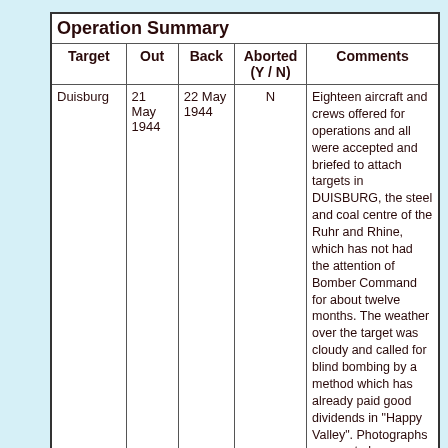| Target | Out | Back | Aborted (Y / N) | Comments |
| --- | --- | --- | --- | --- |
| Duisburg | 21 May 1944 | 22 May 1944 | N | Eighteen aircraft and crews offered for operations and all were accepted and briefed to attach targets in DUISBURG, the steel and coal centre of the Ruhr and Rhine, which has not had the attention of Bomber Command for about twelve months. The weather over the target was cloudy and called for blind bombing by a method which has already paid good dividends in "Happy Valley". Photographs as was to be expected yielded no joy and cannot profitably be commented upon, all showing thick cloud and in some instances fire |